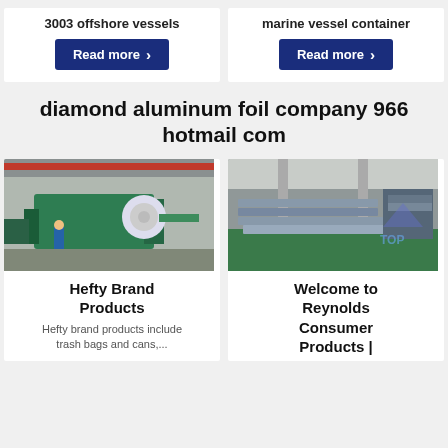3003 offshore vessels
Read more
marine vessel container
Read more
diamond aluminum foil company 966 hotmail com
[Figure (photo): Industrial factory interior with machinery and a large roll of aluminum foil, worker in blue uniform visible]
[Figure (photo): Industrial warehouse with stacked aluminum sheets on green floor, TOP watermark visible]
Hefty Brand Products
Hefty brand products include trash bags and cans,...
Welcome to Reynolds Consumer Products |